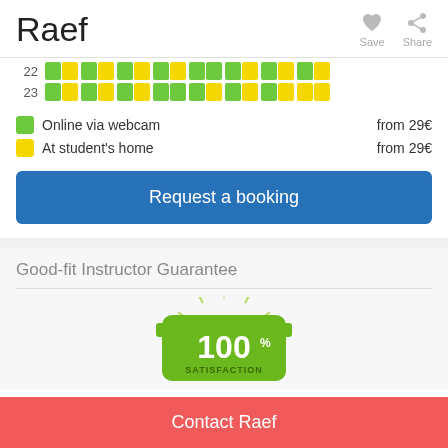Raef
[Figure (other): Save and Share action buttons with heart and share icons]
[Figure (other): Weekly availability calendar rows for days 22 and 23, showing green (online via webcam) and yellow (at student's home) half-hour slots]
Online via webcam   from 29€
At student's home   from 29€
Request a booking
Good-fit Instructor Guarantee
[Figure (illustration): 100% Satisfaction badge/seal in green with sunburst rays]
Contact Raef